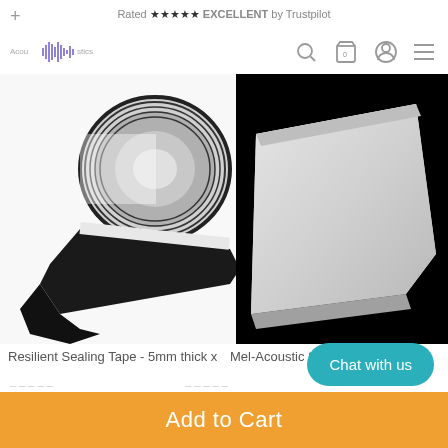+ Rated ★★★★★ EXCELLENT by Trustpilot
[Figure (screenshot): Website navigation bar with acoustic logo waveform, search icon, cart icon (0), user icon, and hamburger menu]
[Figure (photo): Resilient sealing tape roll, black foam tape unrolling on white background]
[Figure (photo): Mel-Acoustic Slab melamine acoustic panel, light grey rectangular slab on black background]
Resilient Sealing Tape - 5mm thick x 50mm wide x 10m long
Mel-Acoustic Sla Melamine Acous 600x1200
Chat with us
Add to Cart